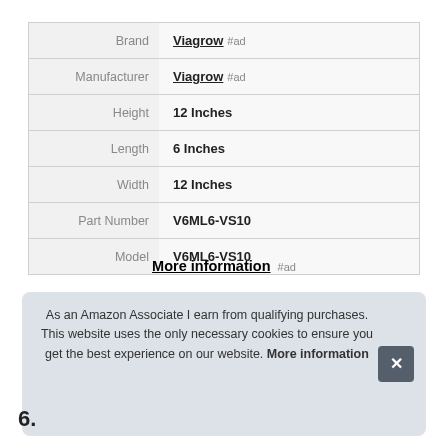| Attribute | Value |
| --- | --- |
| Brand | Viagrow #ad |
| Manufacturer | Viagrow #ad |
| Height | 12 Inches |
| Length | 6 Inches |
| Width | 12 Inches |
| Part Number | V6ML6-VS10 |
| Model | V6ML6-VS10 |
More information #ad
As an Amazon Associate I earn from qualifying purchases. This website uses the only necessary cookies to ensure you get the best experience on our website. More information